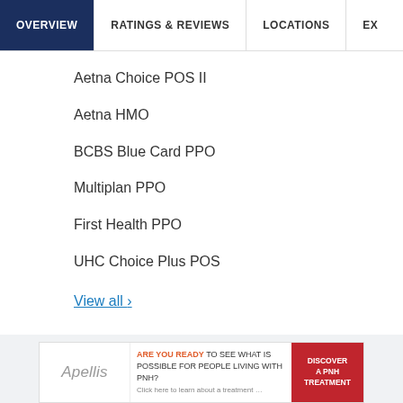OVERVIEW | RATINGS & REVIEWS | LOCATIONS | EX
Aetna Choice POS II
Aetna HMO
BCBS Blue Card PPO
Multiplan PPO
First Health PPO
UHC Choice Plus POS
View all >
[Figure (screenshot): Advertisement banner for Apellis pharmaceutical company with text 'ARE YOU READY TO SEE WHAT IS POSSIBLE FOR PEOPLE LIVING WITH PNH?' and red button 'DISCOVER A PNH TREATMENT']